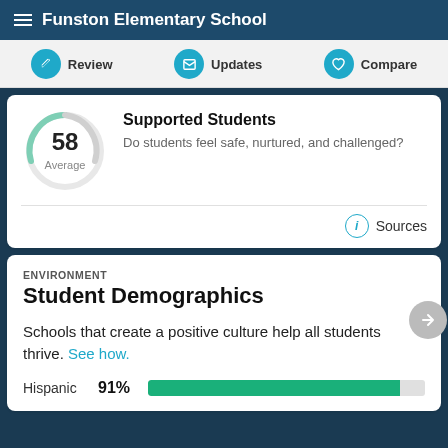Funston Elementary School
[Figure (screenshot): Navigation bar with Review, Updates, Compare buttons with teal circle icons]
[Figure (donut-chart): Partial donut gauge showing score 58 Average]
Supported Students
Do students feel safe, nurtured, and challenged?
Sources
ENVIRONMENT
Student Demographics
Schools that create a positive culture help all students thrive. See how.
| Group | Percentage | Bar |
| --- | --- | --- |
| Hispanic | 91% | 91% filled bar |